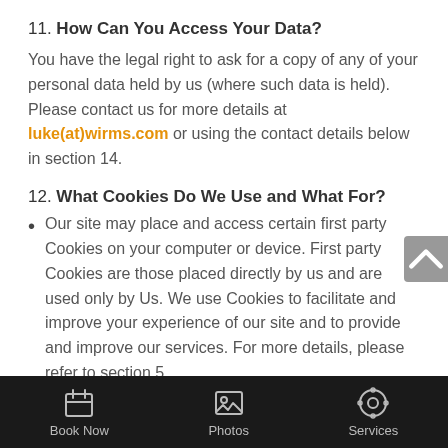11. How Can You Access Your Data?
You have the legal right to ask for a copy of any of your personal data held by us (where such data is held). Please contact us for more details at luke(at)wirms.com or using the contact details below in section 14.
12. What Cookies Do We Use and What For?
Our site may place and access certain first party Cookies on your computer or device. First party Cookies are those placed directly by us and are used only by Us. We use Cookies to facilitate and improve your experience of our site and to provide and improve our services. For more details, please refer to section 5,
Book Now   Photos   Services